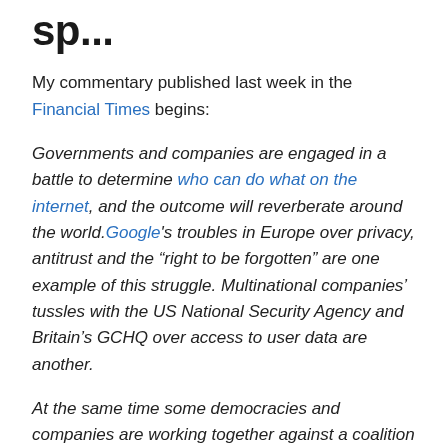sp...
My commentary published last week in the Financial Times begins:
Governments and companies are engaged in a battle to determine who can do what on the internet, and the outcome will reverberate around the world. Google’s troubles in Europe over privacy, antitrust and the “right to be forgotten” are one example of this struggle. Multinational companies’ tussles with the US National Security Agency and Britain’s GCHQ over access to user data are another.
At the same time some democracies and companies are working together against a coalition that includes most of the world's authoritarian regimes in a struggle over how the internet should be governed, by whom, and to what